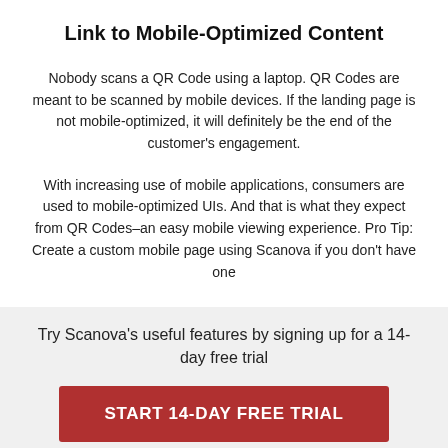Link to Mobile-Optimized Content
Nobody scans a QR Code using a laptop. QR Codes are meant to be scanned by mobile devices. If the landing page is not mobile-optimized, it will definitely be the end of the customer's engagement.
With increasing use of mobile applications, consumers are used to mobile-optimized UIs. And that is what they expect from QR Codes–an easy mobile viewing experience. Pro Tip: Create a custom mobile page using Scanova if you don't have one
Try Scanova's useful features by signing up for a 14-day free trial
START 14-DAY FREE TRIAL
Not sure if Scanova meets your requirements? REQUEST A DEMO 🔒